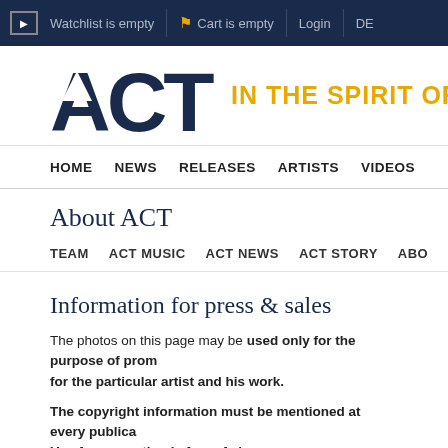▶  Watchlist is empty   🛒 Cart is empty   Login   DE
[Figure (logo): ACT logo with triangle inside A, tagline IN THE SPIRIT OF JA...]
HOME   NEWS   RELEASES   ARTISTS   VIDEOS
About ACT
TEAM   ACT MUSIC   ACT NEWS   ACT STORY   ABO...
Information for press & sales
The photos on this page may be used only for the purpose of prom... for the particular artist and his work.
The copyright information must be mentioned at every publica... Use for promotion is free of charge.